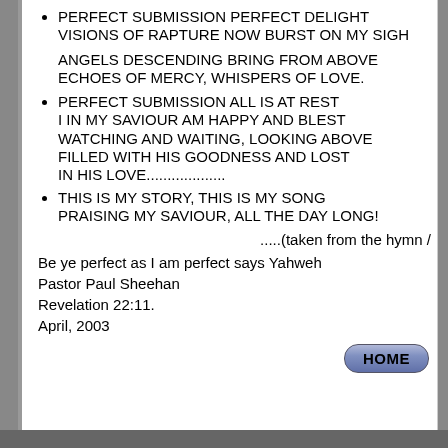PERFECT SUBMISSION PERFECT DELIGHT VISIONS OF RAPTURE NOW BURST ON MY SIGH
ANGELS DESCENDING BRING FROM ABOVE ECHOES OF MERCY, WHISPERS OF LOVE.
PERFECT SUBMISSION ALL IS AT REST I IN MY SAVIOUR AM HAPPY AND BLEST WATCHING AND WAITING, LOOKING ABOVE FILLED WITH HIS GOODNESS AND LOST IN HIS LOVE..................
THIS IS MY STORY, THIS IS MY SONG PRAISING MY SAVIOUR, ALL THE DAY LONG!
.....(taken from the hymn /
Be ye perfect as I am perfect says Yahweh
Pastor Paul Sheehan
Revelation 22:11.
April, 2003